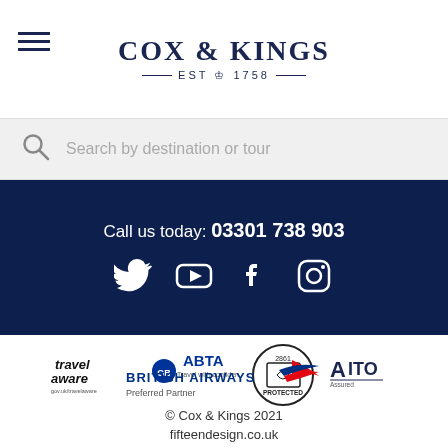[Figure (logo): Cox & Kings logo with EST 1758 tagline and hamburger menu icon]
Search by destination or tour
Call us today: 03301 738 903
[Figure (infographic): Social media icons: Twitter, YouTube, Facebook, Instagram]
[Figure (logo): Trust badges: Travel Aware, ABTA Travel with confidence, ATOL Protected, AITO Assured]
[Figure (logo): British Airways Preferred Partner logo]
© Cox & Kings 2021
fifteendesign.co.uk